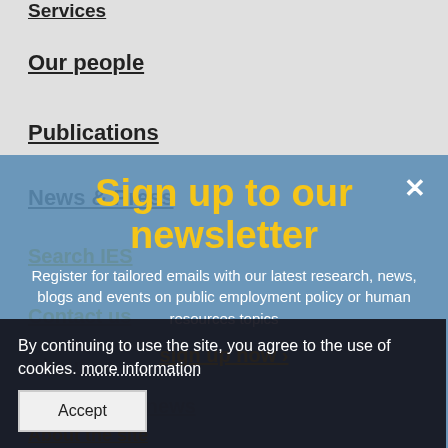Services
Our people
Publications
News & Press
Search IES
Contact us
About us
Register for news
Sign up to our newsletter
Register for tailored emails with our latest research, news, blogs and events on public employment policy or human resources topics
sign up now
By continuing to use the site, you agree to the use of cookies. more information
Accept
About the site